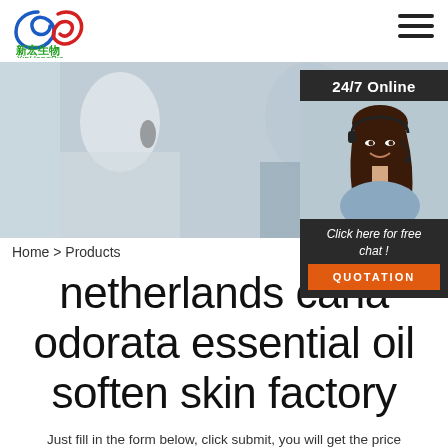[Figure (logo): XinHongBio company logo with stylized blue and red leaf/swirl mark and Chinese characters 新宏生物 with XinHongBio text in green]
[Figure (photo): Hero banner photo of two people in business attire wearing headsets, suggesting a customer service or call center setting]
[Figure (photo): Sidebar panel with 24/7 Online label, photo of smiling woman with headset, 'Click here for free chat!' text and orange QUOTATION button]
Home > Products
netherlands cana odorata essential oil soften skin factory
Just fill in the form below, click submit, you will get the price